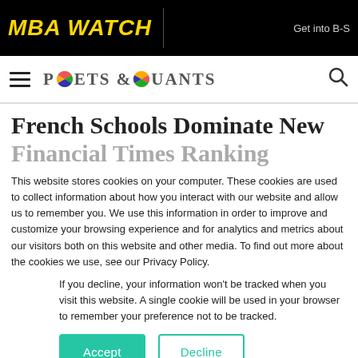MBA WATCH
[Figure (logo): Poets & Quants logo with stylized globe in the letterforms]
French Schools Dominate New Financial Times Ranking
This website stores cookies on your computer. These cookies are used to collect information about how you interact with our website and allow us to remember you. We use this information in order to improve and customize your browsing experience and for analytics and metrics about our visitors both on this website and other media. To find out more about the cookies we use, see our Privacy Policy.
If you decline, your information won't be tracked when you visit this website. A single cookie will be used in your browser to remember your preference not to be tracked.